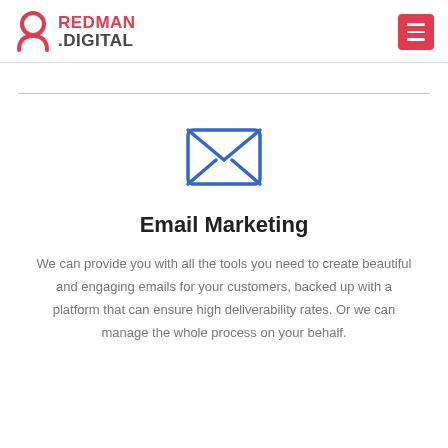RedMan.Digital
[Figure (logo): RedMan.Digital company logo with person icon in red and dark grey text]
[Figure (illustration): Blue envelope/mail icon representing email marketing]
Email Marketing
We can provide you with all the tools you need to create beautiful and engaging emails for your customers, backed up with a platform that can ensure high deliverability rates. Or we can manage the whole process on your behalf.